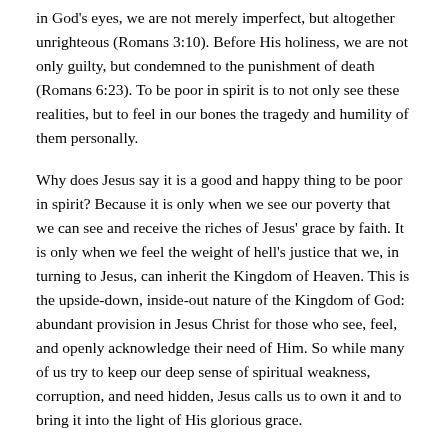in God's eyes, we are not merely imperfect, but altogether unrighteous (Romans 3:10). Before His holiness, we are not only guilty, but condemned to the punishment of death (Romans 6:23). To be poor in spirit is to not only see these realities, but to feel in our bones the tragedy and humility of them personally.
Why does Jesus say it is a good and happy thing to be poor in spirit? Because it is only when we see our poverty that we can see and receive the riches of Jesus' grace by faith. It is only when we feel the weight of hell's justice that we, in turning to Jesus, can inherit the Kingdom of Heaven. This is the upside-down, inside-out nature of the Kingdom of God: abundant provision in Jesus Christ for those who see, feel, and openly acknowledge their need of Him. So while many of us try to keep our deep sense of spiritual weakness, corruption, and need hidden, Jesus calls us to own it and to bring it into the light of His glorious grace.